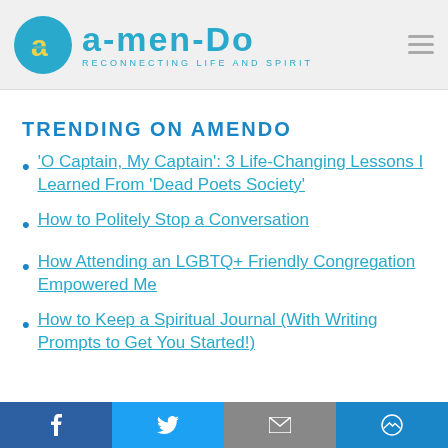[Figure (logo): Amendo logo: teal circle with yellow 'a' letter, followed by 'amendo' brand name in teal and tagline 'RECONNECTING LIFE AND SPIRIT']
TRENDING ON AMENDO
'O Captain, My Captain': 3 Life-Changing Lessons I Learned From 'Dead Poets Society'
How to Politely Stop a Conversation
How Attending an LGBTQ+ Friendly Congregation Empowered Me
How to Keep a Spiritual Journal (With Writing Prompts to Get You Started!)
Facebook | Twitter | Email | Messenger